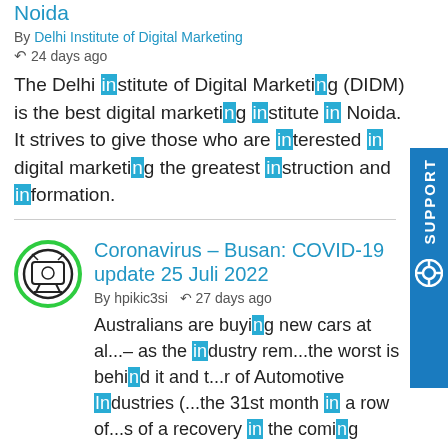Noida
By Delhi Institute of Digital Marketing
24 days ago
The Delhi institute of Digital Marketing (DIDM) is the best digital marketing institute in Noida. It strives to give those who are interested in digital marketing the greatest instruction and information.
Coronavirus – Busan: COVID-19 update 25 Juli 2022
By hpikic3si  27 days ago
Australians are buying new cars at al...– as the industry rem...the worst is behind it and t...r of Automotive Industries (...the 31st month in a row of...s of a recovery in the coming m...percent. The Nort...r of Automotive Industri...TOP 10 CARS IN